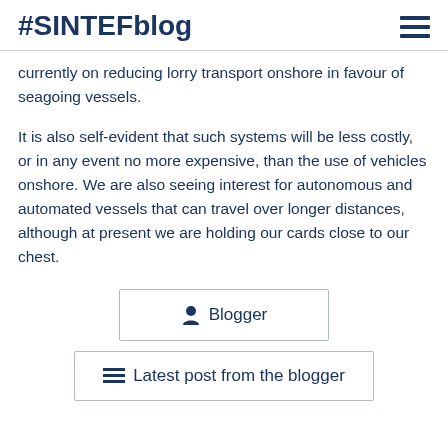#SINTEFblog
currently on reducing lorry transport onshore in favour of seagoing vessels.
It is also self-evident that such systems will be less costly, or in any event no more expensive, than the use of vehicles onshore. We are also seeing interest for autonomous and automated vessels that can travel over longer distances, although at present we are holding our cards close to our chest.
Blogger
Latest post from the blogger